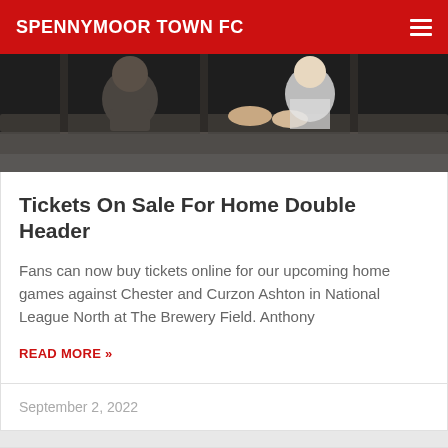SPENNYMOOR TOWN FC
[Figure (photo): Fans leaning on a railing at a football ground, viewed from below]
Tickets On Sale For Home Double Header
Fans can now buy tickets online for our upcoming home games against Chester and Curzon Ashton in National League North at The Brewery Field. Anthony
READ MORE »
September 2, 2022